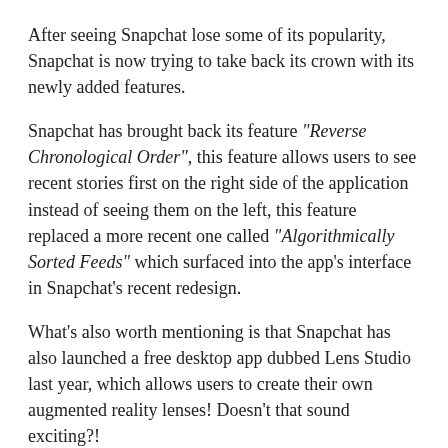After seeing Snapchat lose some of its popularity, Snapchat is now trying to take back its crown with its newly added features.
Snapchat has brought back its feature "Reverse Chronological Order", this feature allows users to see recent stories first on the right side of the application instead of seeing them on the left, this feature replaced a more recent one called "Algorithmically Sorted Feeds" which surfaced into the app's interface in Snapchat's recent redesign.
What's also worth mentioning is that Snapchat has also launched a free desktop app dubbed Lens Studio last year, which allows users to create their own augmented reality lenses! Doesn't that sound exciting?!
Now let's a take a quick look on how to use